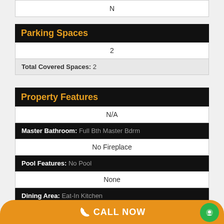N
Parking Spaces
2
Total Covered Spaces: 2
Property Features
N/A
Master Bathroom: Full Bth Master Bdrm
No Fireplace
Pool Features: No Pool
None
Dining Area: Eat-In Kitchen
CALL NOW